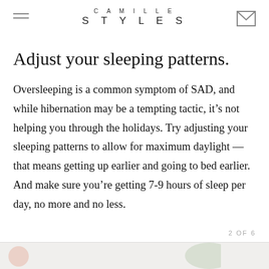CAMILLE STYLES
Adjust your sleeping patterns.
Oversleeping is a common symptom of SAD, and while hibernation may be a tempting tactic, it's not helping you through the holidays. Try adjusting your sleeping patterns to allow for maximum daylight — that means getting up earlier and going to bed earlier. And make sure you're getting 7-9 hours of sleep per day, no more and no less.
2 OF 6